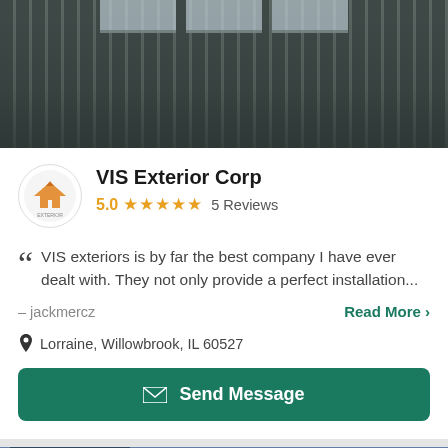[Figure (photo): Exterior photo of a building with dark vertical metal panel siding and windows at the top]
VIS Exterior Corp
5.0 ★★★★★ 5 Reviews
VIS exteriors is by far the best company I have ever dealt with. They not only provide a perfect installation...
– jackmercz
Read More >
Lorraine, Willowbrook, IL 60527
Send Message
[Figure (photo): Exterior photo of a modern building at dusk with glass facades and trees silhouetted against a blue sky, showing counter 1/1]